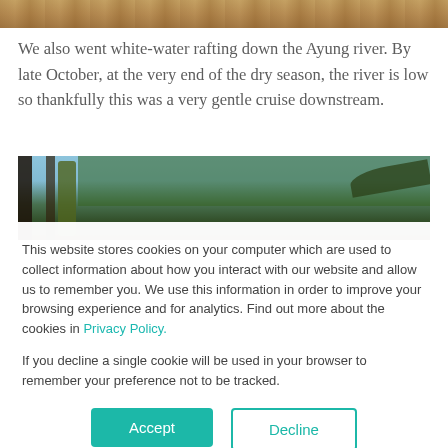[Figure (photo): Top portion of a photo showing water or river scene with brownish/earthy tones, partially cropped at the top of the page]
We also went white-water rafting down the Ayung river. By late October, at the very end of the dry season, the river is low so thankfully this was a very gentle cruise downstream.
[Figure (photo): Photo of tropical trees and vegetation viewed from below, showing blue sky through the canopy with tall tree trunks and lush green foliage]
This website stores cookies on your computer which are used to collect information about how you interact with our website and allow us to remember you. We use this information in order to improve your browsing experience and for analytics. Find out more about the cookies in Privacy Policy.
If you decline a single cookie will be used in your browser to remember your preference not to be tracked.